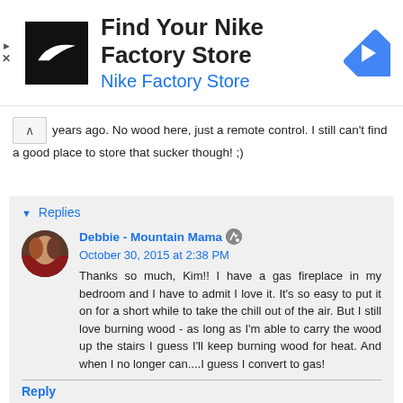[Figure (other): Nike Factory Store advertisement banner with Nike logo (black square with swoosh), heading 'Find Your Nike Factory Store', subheading 'Nike Factory Store' in blue, and a blue navigation arrow icon on the right.]
years ago. No wood here, just a remote control. I still can't find a good place to store that sucker though! ;)
Reply
▾ Replies
Debbie - Mountain Mama   October 30, 2015 at 2:38 PM
Thanks so much, Kim!! I have a gas fireplace in my bedroom and I have to admit I love it. It's so easy to put it on for a short while to take the chill out of the air. But I still love burning wood - as long as I'm able to carry the wood up the stairs I guess I'll keep burning wood for heat. And when I no longer can....I guess I convert to gas!
Reply